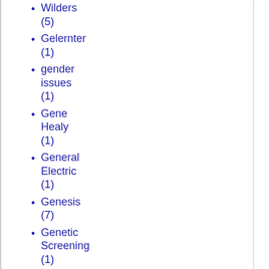Wilders (5)
Gelernter (1)
gender issues (1)
Gene Healy (1)
General Electric (1)
Genesis (7)
Genetic Screening (1)
Genetic Testing (1)
genetics (1)
genome (1)